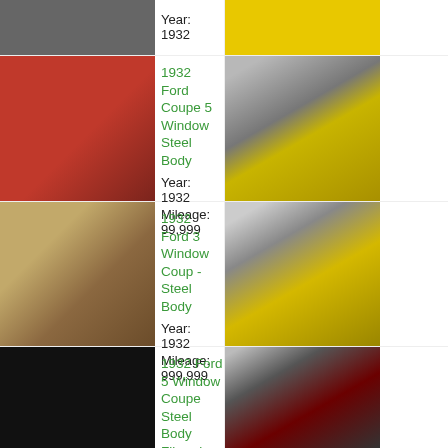[Figure (photo): Partial top row - left: dark car photo cropped, right: yellow car photo cropped]
Year: 1932
[Figure (photo): Red 1932 Ford Coupe 5 Window Steel Body]
1932 Ford Coupe 5 Window Steel Body
Year: 1932
Mileage: 99,999
[Figure (photo): Yellow 1932 Ford hot rod - right column top]
[Figure (photo): Rust/beige 1932 Ford 3 Window Coup - Steel Body]
1932 Ford 3 Window Coup - Steel Body
Year: 1932
Mileage: 999,999
[Figure (photo): Yellow 1932 Ford hot rod - right column middle]
[Figure (photo): Blue 1932 Ford 5 Window Coupe Steel Body Fiberglass Fenders]
1932 Ford 5 Window Coupe Steel Body Fiberglass Fenders
Year: 1932
Mileage: 6,100
[Figure (photo): Red/dark 1932 Ford - right column bottom]